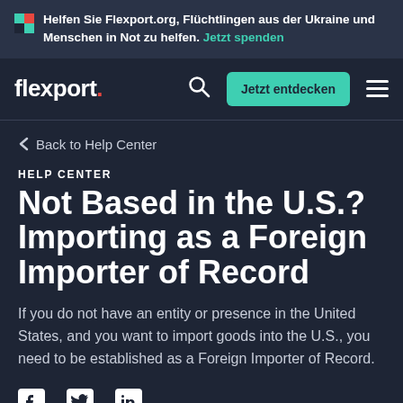Helfen Sie Flexport.org, Flüchtlingen aus der Ukraine und Menschen in Not zu helfen. Jetzt spenden
[Figure (logo): Flexport logo with navigation bar including search icon, 'Jetzt entdecken' button, and hamburger menu]
Back to Help Center
HELP CENTER
Not Based in the U.S.? Importing as a Foreign Importer of Record
If you do not have an entity or presence in the United States, and you want to import goods into the U.S., you need to be established as a Foreign Importer of Record.
[Figure (illustration): Social media icons: Facebook, Twitter, LinkedIn]